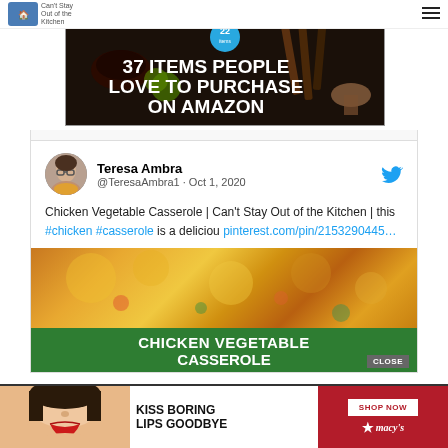Can't Stay Out of the Kitchen
[Figure (screenshot): Advertisement banner: '37 ITEMS PEOPLE LOVE TO PURCHASE ON AMAZON' with dark background showing kitchen items, knives, and spices. Badge showing '22'.]
[Figure (screenshot): Tweet by Teresa Ambra (@TeresaAmbra1, Oct 1, 2020): 'Chicken Vegetable Casserole | Can't Stay Out of the Kitchen | this #chicken #casserole is a deliciou pinterest.com/pin/2153290445...']
Chicken Vegetable Casserole | Can't Stay Out of the Kitchen | this #chicken #casserole is a deliciou pinterest.com/pin/2153290445...
[Figure (photo): Photo of Chicken Vegetable Casserole with melted cheese on top, with green banner overlay reading 'CHICKEN VEGETABLE CASSEROLE' and a CLOSE button.]
[Figure (screenshot): Macy's advertisement: 'KISS BORING LIPS GOODBYE' with SHOP NOW button and Macy's star logo, featuring a woman with red lips.]